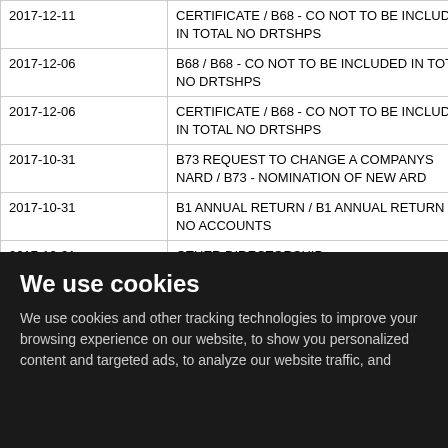| Date | Description |
| --- | --- |
| 2017-12-11 | CERTIFICATE / B68 - CO NOT TO BE INCLUDED IN TOTAL NO DRTSHPS |
| 2017-12-06 | B68 / B68 - CO NOT TO BE INCLUDED IN TOTAL NO DRTSHPS |
| 2017-12-06 | CERTIFICATE / B68 - CO NOT TO BE INCLUDED IN TOTAL NO DRTSHPS |
| 2017-10-31 | B73 REQUEST TO CHANGE A COMPANYS NARD / B73 - NOMINATION OF NEW ARD |
| 2017-10-31 | B1 ANNUAL RETURN / B1 ANNUAL RETURN - NO ACCOUNTS |
| 2017-10-31 | OTHER DIRECTORSHIP... |
We use cookies
We use cookies and other tracking technologies to improve your browsing experience on our website, to show you personalized content and targeted ads, to analyze our website traffic, and